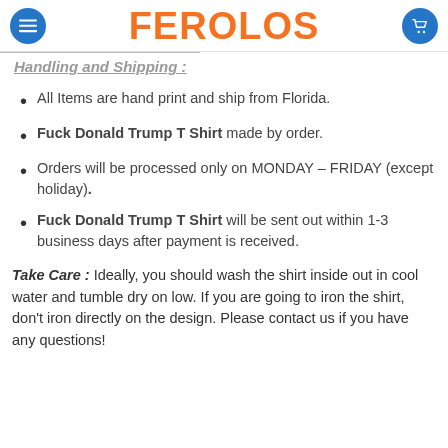FEROLOS
Handling and Shipping :
All Items are hand print and ship from Florida.
Fuck Donald Trump T Shirt made by order.
Orders will be processed only on MONDAY – FRIDAY (except holiday).
Fuck Donald Trump T Shirt will be sent out within 1-3 business days after payment is received.
Take Care : Ideally, you should wash the shirt inside out in cool water and tumble dry on low. If you are going to iron the shirt, don't iron directly on the design. Please contact us if you have any questions!